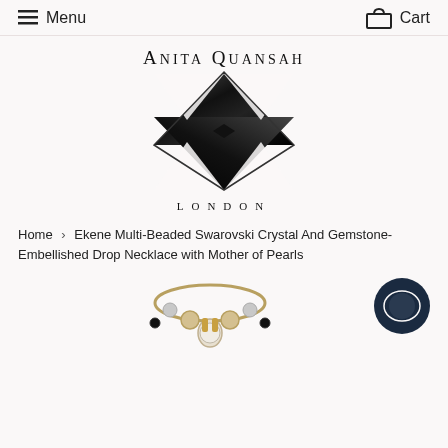Menu    Cart
[Figure (logo): Anita Quansah London logo — decorative geometric monogram in black with stylized overlapping triangles and diamond shape, text 'ANITA QUANSAH' above and 'LONDON' below]
Home  >  Ekene Multi-Beaded Swarovski Crystal And Gemstone-Embellished Drop Necklace with Mother of Pearls
[Figure (photo): Partial photo of a multi-beaded gemstone necklace with gold and pearl embellishments, bottom-cropped]